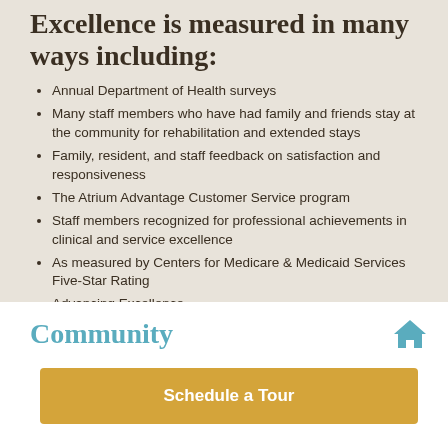Excellence is measured in many ways including:
Annual Department of Health surveys
Many staff members who have had family and friends stay at the community for rehabilitation and extended stays
Family, resident, and staff feedback on satisfaction and responsiveness
The Atrium Advantage Customer Service program
Staff members recognized for professional achievements in clinical and service excellence
As measured by Centers for Medicare & Medicaid Services Five-Star Rating
Advancing Excellence
Community
Schedule a Tour